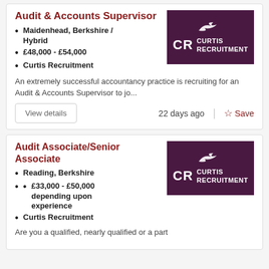Audit & Accounts Supervisor
Maidenhead, Berkshire / Hybrid
£48,000 - £54,000
Curtis Recruitment
[Figure (logo): Curtis Recruitment logo — purple background with CR letters and bird silhouette]
An extremely successful accountancy practice is recruiting for an Audit & Accounts Supervisor to jo...
22 days ago
Audit Associate/Senior Associate
Reading, Berkshire
£33,000 - £50,000 depending upon experience
Curtis Recruitment
[Figure (logo): Curtis Recruitment logo — purple background with CR letters and bird silhouette]
Are you a qualified, nearly qualified or a part